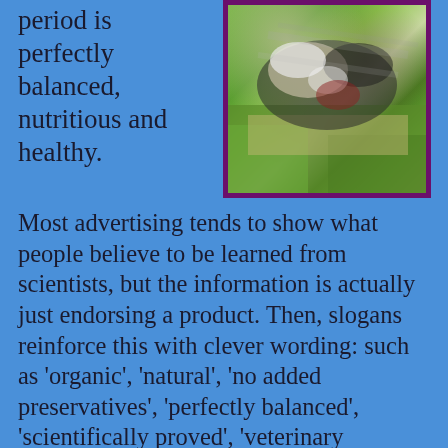period is perfectly balanced, nutritious and healthy.
[Figure (photo): A dog or similar animal interacting with prey or food on grass, with motion blur, framed with dark purple border.]
Most advertising tends to show what people believe to be learned from scientists, but the information is actually just endorsing a product. Then, slogans reinforce this with clever wording: such as 'organic', 'natural', 'no added preservatives', 'perfectly balanced', 'scientifically proved', 'veterinary approved', or other fashionable but not necessarily meaningful words.
The Canine body is designed to thrive and